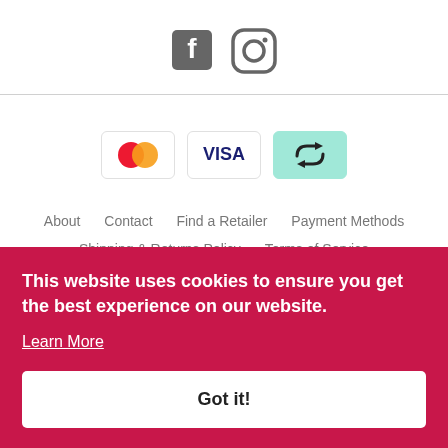[Figure (logo): Facebook and Instagram social media icons in gray]
[Figure (illustration): Payment method icons: Mastercard (red/orange circles), Visa (blue text on white), and a teal/green recycling arrows icon]
About   Contact   Find a Retailer   Payment Methods
Shipping & Returns Policy   Terms of Service
Privacy Policy   Terms of Service   Refund Policy
This website uses cookies to ensure you get the best experience on our website.
Learn More
Got it!